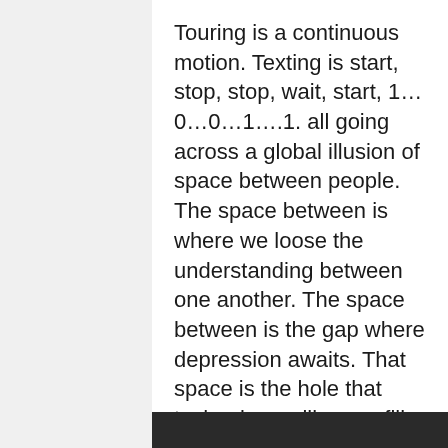Touring is a continuous motion. Texting is start, stop, stop, wait, start, 1…0…0…1….1. all going across a global illusion of space between people. The space between is where we loose the understanding between one another. The space between is the gap where depression awaits. That space is the hole that technology will never fill. So it needs to back off in our lives so we can connect and stay connected to one another.